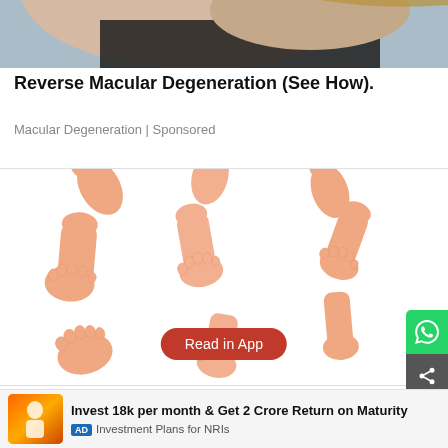[Figure (photo): Partial photo of a person's neckline/shoulder area, cropped at top]
Reverse Macular Degeneration (See How).
Macular Degeneration | Sponsored
[Figure (illustration): Illustration of multiple human feet and ankles in various orientations on white background, with a red 'Read in App' button overlay]
Red Flag Signs of Multiple Sclerosis (MS) Many May Not Be
Multiple
Invest 18k per month & Get 2 Crore Return on Maturity
AD  Investment Plans for NRIs